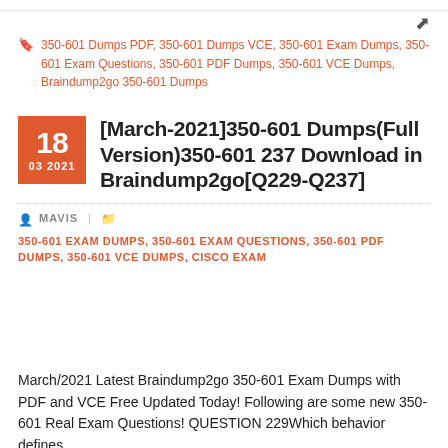350-601 Dumps PDF, 350-601 Dumps VCE, 350-601 Exam Dumps, 350-601 Exam Questions, 350-601 PDF Dumps, 350-601 VCE Dumps, Braindump2go 350-601 Dumps
[March-2021]350-601 Dumps(Full Version)350-601 237 Download in Braindump2go[Q229-Q237]
MAVIS | 350-601 EXAM DUMPS, 350-601 EXAM QUESTIONS, 350-601 PDF DUMPS, 350-601 VCE DUMPS, CISCO EXAM
March/2021 Latest Braindump2go 350-601 Exam Dumps with PDF and VCE Free Updated Today! Following are some new 350-601 Real Exam Questions! QUESTION 229Which behavior defines...